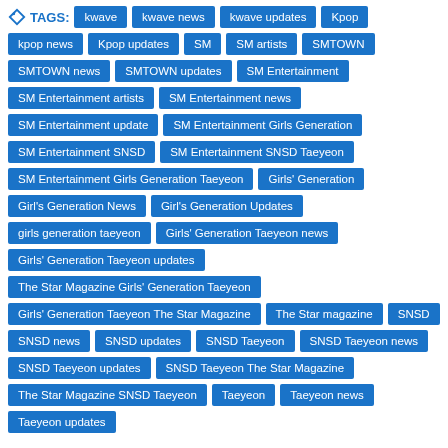TAGS: kwave, kwave news, kwave updates, Kpop, kpop news, Kpop updates, SM, SM artists, SMTOWN, SMTOWN news, SMTOWN updates, SM Entertainment, SM Entertainment artists, SM Entertainment news, SM Entertainment update, SM Entertainment Girls Generation, SM Entertainment SNSD, SM Entertainment SNSD Taeyeon, SM Entertainment Girls Generation Taeyeon, Girls' Generation, Girl's Generation News, Girl's Generation Updates, girls generation taeyeon, Girls' Generation Taeyeon news, Girls' Generation Taeyeon updates, The Star Magazine Girls' Generation Taeyeon, Girls' Generation Taeyeon The Star Magazine, The Star magazine, SNSD, SNSD news, SNSD updates, SNSD Taeyeon, SNSD Taeyeon news, SNSD Taeyeon updates, SNSD Taeyeon The Star Magazine, The Star Magazine SNSD Taeyeon, Taeyeon, Taeyeon news, Taeyeon updates